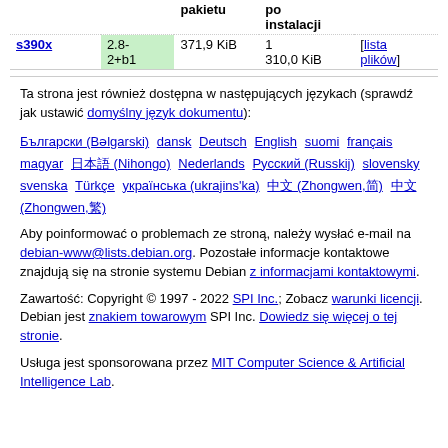|  |  | pakietu | po instalacji |  |
| --- | --- | --- | --- | --- |
| s390x | 2.8-2+b1 | 371,9 KiB | 1
310,0 KiB | [lista plików] |
Ta strona jest również dostępna w następujących językach (sprawdź jak ustawić domyślny język dokumentu):
Български (Bəlgarski)  dansk  Deutsch  English  suomi  français  magyar  日本語 (Nihongo)  Nederlands  Русский (Russkij)  slovensky  svenska  Türkçe  українська (ukrajins'ka)  中文 (Zhongwen,简)  中文 (Zhongwen,繁)
Aby poinformować o problemach ze stroną, należy wysłać e-mail na debian-www@lists.debian.org. Pozostałe informacje kontaktowe znajdują się na stronie systemu Debian z informacjami kontaktowymi.
Zawartość: Copyright © 1997 - 2022 SPI Inc.; Zobacz warunki licencji. Debian jest znakiem towarowym SPI Inc. Dowiedz się więcej o tej stronie.
Usługa jest sponsorowana przez MIT Computer Science & Artificial Intelligence Lab.